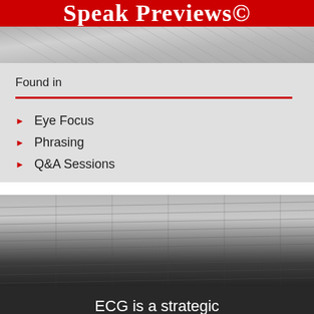Speak Previews©
[Figure (photo): Gray diagonal texture/wood grain background strip]
Found in
Eye Focus
Phrasing
Q&A Sessions
[Figure (photo): Gray and dark wooden floor planks background photo transitioning from light gray at top to dark charcoal at bottom]
ECG is a strategic communications consulting